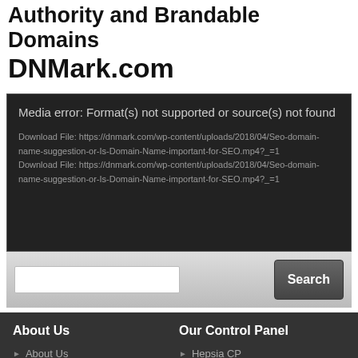Authority and Brandable Domains DNMark.com
[Figure (screenshot): Media error player with dark background showing error message: 'Media error: Format(s) not supported or source(s) not found' and two download file links to dnmark.com mp4 file]
Search bar with input field and Search button
About Us
Our Control Panel
About Us
Hepsia CP